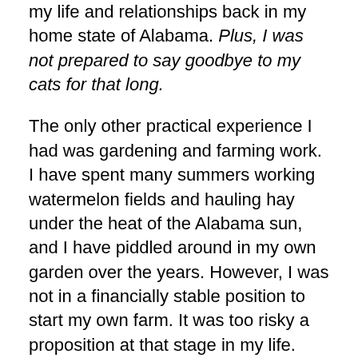my life and relationships back in my home state of Alabama. Plus, I was not prepared to say goodbye to my cats for that long.
The only other practical experience I had was gardening and farming work. I have spent many summers working watermelon fields and hauling hay under the heat of the Alabama sun, and I have piddled around in my own garden over the years. However, I was not in a financially stable position to start my own farm. It was too risky a proposition at that stage in my life.
I was also not quite ready to let go of WordPress. There was more that I wanted to accomplish, but I still faced the reality of needing to move on from the